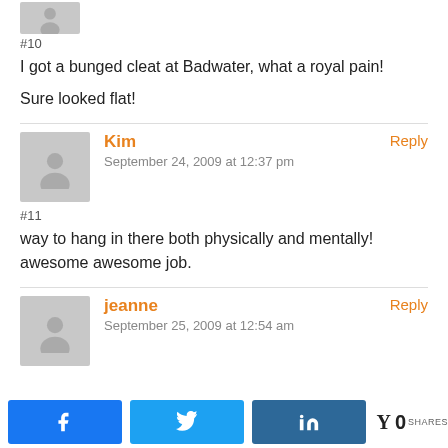[Figure (illustration): Partial avatar icon cropped at top]
#10
I got a bunged cleat at Badwater, what a royal pain!
Sure looked flat!
Kim
September 24, 2009 at 12:37 pm
Reply
#11
way to hang in there both physically and mentally! awesome awesome job.
jeanne
September 25, 2009 at 12:54 am
Reply